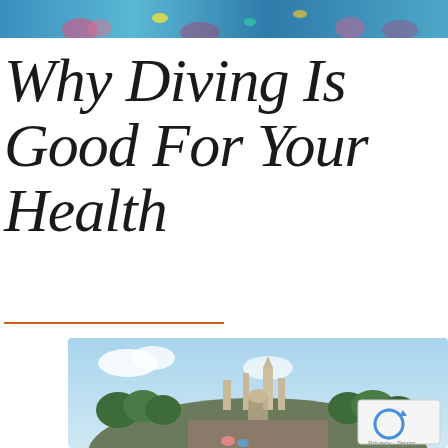[Figure (photo): Colorful underwater/ocean scene strip at top of page]
Why Diving Is Good For Your Health
[Figure (photo): Temple on a rocky hillside with lush green trees and blue sky, people visible in foreground. reCAPTCHA badge overlaid in bottom-right corner.]